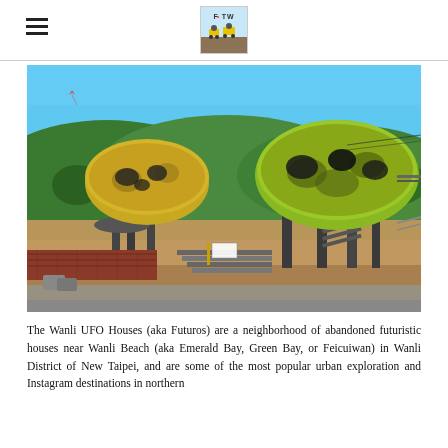FOTW [logo with ATVs image]
[Figure (photo): Two abandoned UFO-shaped houses (Futuro houses) painted yellow-green, elevated on concrete pillars, set against green hills and blue sky. A staircase and brick wall are visible in the foreground. Located in Wanli, New Taipei, Taiwan.]
The Wanli UFO Houses (aka Futuros) are a neighborhood of abandoned futuristic houses near Wanli Beach (aka Emerald Bay, Green Bay, or Feicuiwan) in Wanli District of New Taipei, and are some of the most popular urban exploration and Instagram destinations in northern